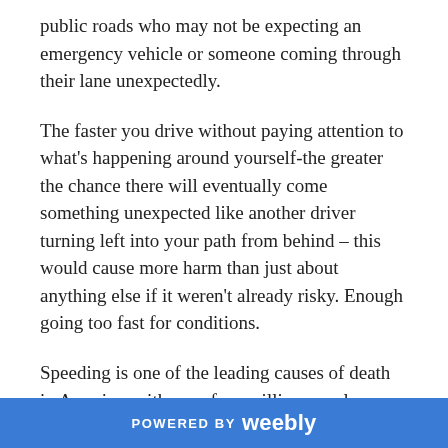public roads who may not be expecting an emergency vehicle or someone coming through their lane unexpectedly.
The faster you drive without paying attention to what's happening around yourself-the greater the chance there will eventually come something unexpected like another driver turning left into your path from behind – this would cause more harm than just about anything else if it weren't already risky. Enough going too fast for conditions.
Speeding is one of the leading causes of death in America, with over four million people injured and 300 deaths per day due to car crashes caused by speeding.
The legalisation of speed limits has led many drivers
POWERED BY weebly